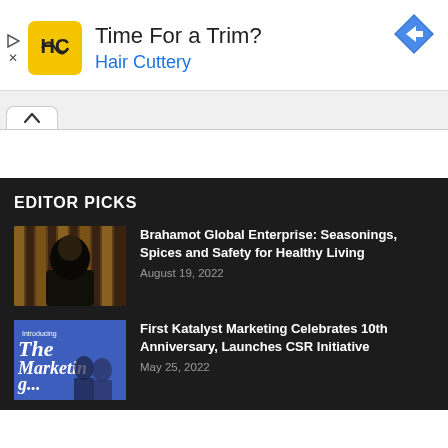[Figure (infographic): Hair Cuttery advertisement banner with yellow HC logo, text 'Time For a Trim?' and 'Hair Cuttery' in blue, and a blue navigation arrow icon]
[Figure (other): Collapse/minimize button with upward chevron arrow on white bar]
EDITOR PICKS
[Figure (photo): Photo of a woman wearing black hijab in front of striped background]
Brahamot Global Enterprise: Seasonings, Spices and Safety for Healthy Living
August 19, 2022
[Figure (photo): Magazine cover showing 'Introducing The Marketing...' with people in blue]
First Katalyst Marketing Celebrates 10th Anniversary, Launches CSR Initiative
May 25, 2022